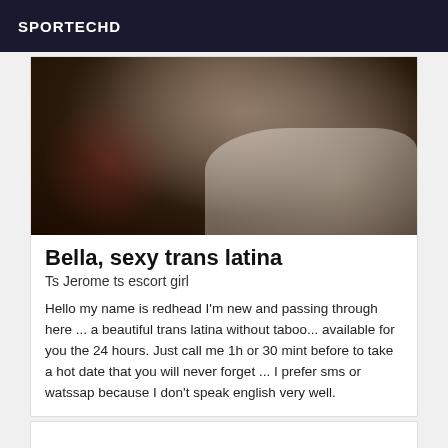SPORTECHD
[Figure (photo): Dark close-up photo showing shoes/clothing items with red accents and white fabric/bedding in background]
Bella, sexy trans latina
Ts Jerome ts escort girl
Hello my name is redhead I'm new and passing through here ... a beautiful trans latina without taboo... available for you the 24 hours. Just call me 1h or 30 mint before to take a hot date that you will never forget ... I prefer sms or watssap because I don't speak english very well.